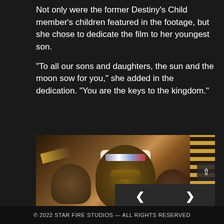Not only were the former Destiny's Child member's children featured in the footage, but she chose to dedicate the film to her youngest son.

“To all our sons and daughters, the sun and the moon sow for you,” she added in the dedication. “You are the keys to the kingdom.”
[Figure (photo): A woman with long braided hair wearing a patterned headband and sunglasses, smiling, seated, with two children with curly hair on either side of her in the foreground. Interior setting with decorative striped paneling visible on the right.]
© 2022 STAR FIRE STUDIOS — ALL RIGHTS RESERVED